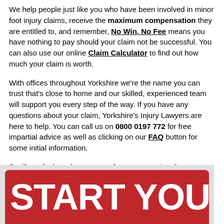We help people just like you who have been involved in minor foot injury claims, receive the maximum compensation they are entitled to, and remember, No Win, No Fee means you have nothing to pay should your claim not be successful. You can also use our online Claim Calculator to find out how much your claim is worth.
With offices throughout Yorkshire we're the name you can trust that's close to home and our skilled, experienced team will support you every step of the way. If you have any questions about your claim, Yorkshire's Injury Lawyers are here to help. You can call us on 0800 0197 772 for free impartial advice as well as clicking on our FAQ button for some initial information.
So, if you feel you have a case for compensation then contact Yorkshire's Injury Lawyers today. If you don't make the call, you won't win the claim.
[Figure (other): Red button banner with white bold text reading 'START YOUR C' (partially visible, cut off at right edge)]